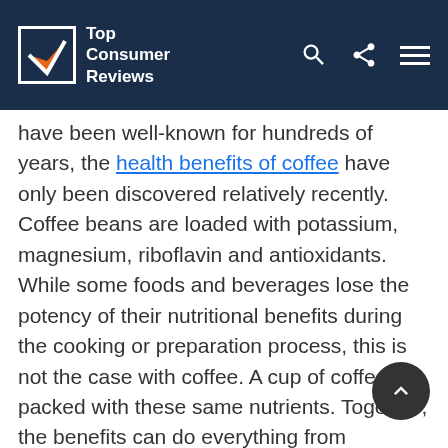Top Consumer Reviews
have been well-known for hundreds of years, the health benefits of coffee have only been discovered relatively recently. Coffee beans are loaded with potassium, magnesium, riboflavin and antioxidants. While some foods and beverages lose the potency of their nutritional benefits during the cooking or preparation process, this is not the case with coffee. A cup of coffee is packed with these same nutrients. Together, the benefits can do everything from promoting cardiovascular health and reducing depression to staving off a wide range of serious diseases. These include liver disease and cancer, Alzheimer's disease, Parkinson's disease, diabetes and more. While many people